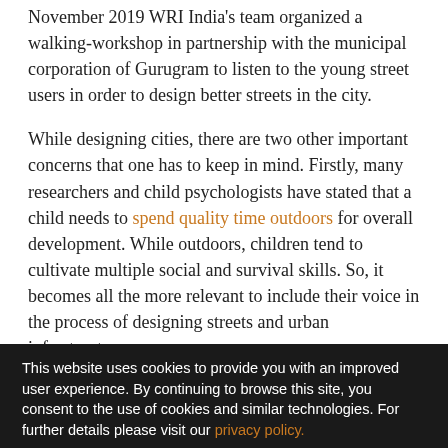November 2019 WRI India's team organized a walking-workshop in partnership with the municipal corporation of Gurugram to listen to the young street users in order to design better streets in the city.
While designing cities, there are two other important concerns that one has to keep in mind. Firstly, many researchers and child psychologists have stated that a child needs to spend quality time outdoors for overall development. While outdoors, children tend to cultivate multiple social and survival skills. So, it becomes all the more relevant to include their voice in the process of designing streets and urban infrastructure.
This website uses cookies to provide you with an improved user experience. By continuing to browse this site, you consent to the use of cookies and similar technologies. For further details please visit our privacy policy.